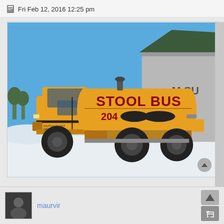Fri Feb 12, 2016 12:25 pm
[Figure (photo): A yellow tanker truck with 'STOOL BUS' written in large red letters on the tank, with a phone number partially redacted (204-XXX-XXXX). The truck is parked in a snowy parking lot with a building visible in the background on a sunny day.]
maurvir